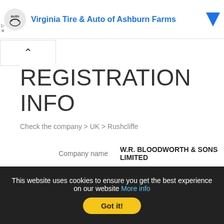[Figure (screenshot): Ad banner for Virginia Tire & Auto of Ashburn Farms with logo and blue triangle icon]
REGISTRATION INFO
Check the company > UK > Rushcliffe
| Company name | W.R. BLOODWORTH & SONS LIMITED |
| Company number | 00527271 |
| Status | Active |
This website uses cookies to ensure you get the best experience on our website More info Got it!